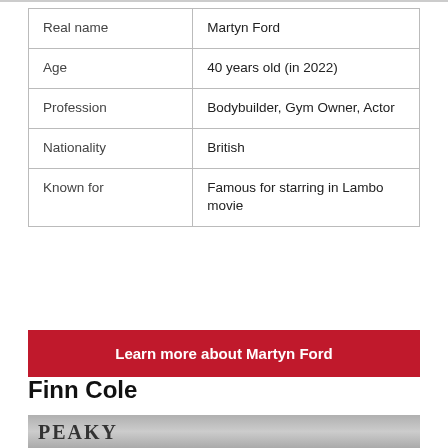|  |  |
| --- | --- |
| Real name | Martyn Ford |
| Age | 40 years old (in 2022) |
| Profession | Bodybuilder, Gym Owner, Actor |
| Nationality | British |
| Known for | Famous for starring in Lambo movie |
Learn more about Martyn Ford
Finn Cole
[Figure (photo): Photo of Finn Cole at what appears to be a Peaky Blinders event, showing a man's face against a light background with a red banner visible]